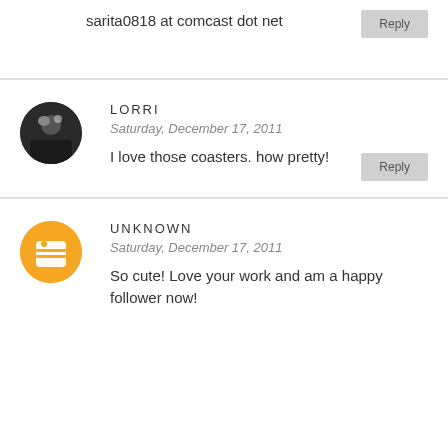sarita0818 at comcast dot net
Reply
LORRI
Saturday, December 17, 2011
I love those coasters. how pretty!
Reply
UNKNOWN
Saturday, December 17, 2011
So cute! Love your work and am a happy follower now!